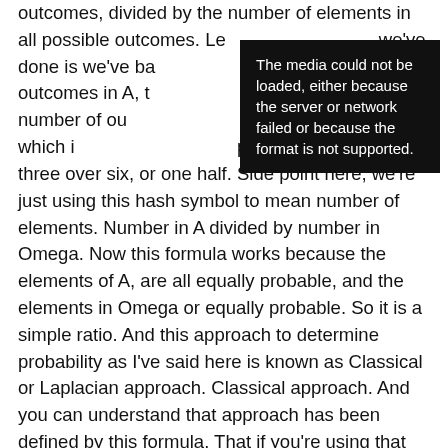outcomes, divided by the number of elements in all possible outcomes. Let... we've done is we've ba... three outcomes in A, t... the total number of ou... outcome space which i... probability, which is three over six, or one half. Side point here, we're just using this hash symbol to mean number of elements. Number in A divided by number in Omega. Now this formula works because the elements of A, are all equally probable, and the elements in Omega or equally probable. So it is a simple ratio. And this approach to determine probability as I've said here is known as Classical or Laplacian approach. Classical approach. And you can understand that approach has been defined by this formula. That if you're using that formula to estimate a probability, well, it's not an estimate in the case of a die or a coin, if you're using that
[Figure (other): Media error overlay: black box with white text reading 'The media could not be loaded, either because the server or network failed or because the format is not supported.']